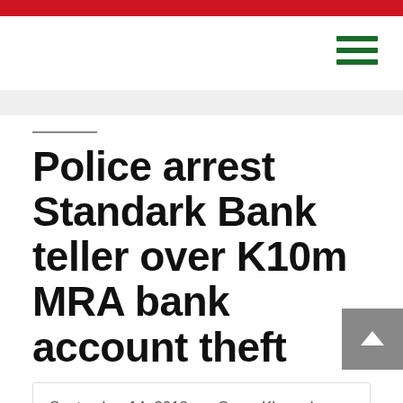Police arrest Standark Bank teller over K10m MRA bank account theft
September 14, 2018   Owen Khamula - Nyasa Times 5 Comments
Malawi Police in Salima have arrested a 37-year-old Standard Bank teller who disappeared in July in Blantyre after allegedly allowing his girl friend to withdraw K10